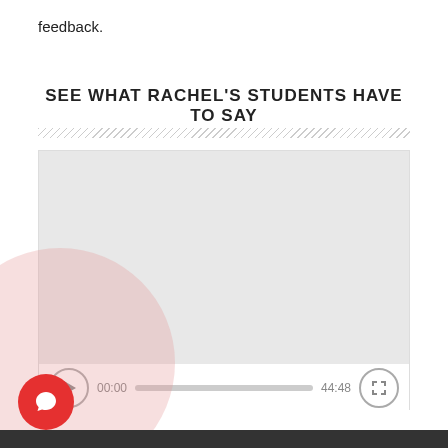feedback.
SEE WHAT RACHEL'S STUDENTS HAVE TO SAY
[Figure (screenshot): Video player with gray screen, play button, time 00:00, progress bar, duration 44:48, and fullscreen button]
[Figure (infographic): Pink circle background with red circular chat icon button in bottom-left corner]